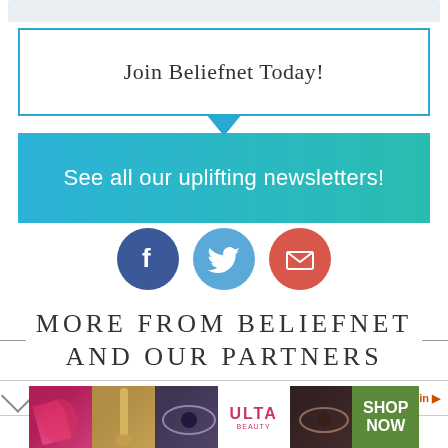[Figure (screenshot): Top gray bar, partial UI element]
Join Beliefnet Today!
See all our uplifting newsletters!
[Figure (infographic): Social media icons: Facebook (dark blue circle), Twitter (light blue circle), Email/envelope (red circle)]
MORE FROM BELIEFNET AND OUR PARTNERS
ored Stories   Recommended by Outbrain
[Figure (infographic): ULTA Beauty advertisement banner showing makeup/beauty product images with SHOP NOW button]